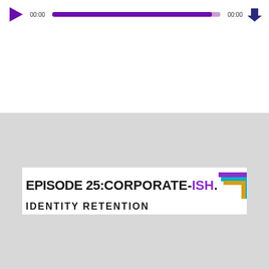[Figure (screenshot): Podcast audio player with purple play button, progress bar filled nearly completely in purple, download arrow icon, time stamps 00:00 on both sides]
[Figure (logo): Episode 25: Corporate-ish banner logo with colored corner bracket decoration in purple, teal/cyan, and gold. Subtitle text partially visible reading IDENTITY RETENTION]